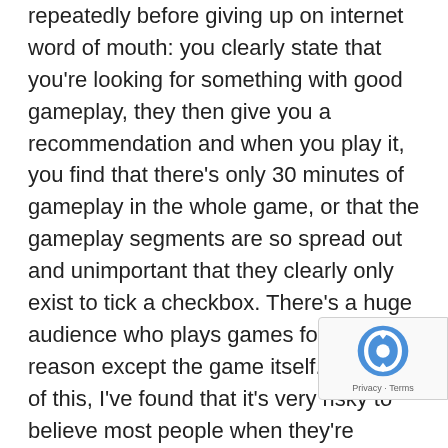repeatedly before giving up on internet word of mouth: you clearly state that you're looking for something with good gameplay, they then give you a recommendation and when you play it, you find that there's only 30 minutes of gameplay in the whole game, or that the gameplay segments are so spread out and unimportant that they clearly only exist to tick a checkbox. There's a huge audience who plays games for every reason except the game itself. Because of this, I've found that it's very risky to believe most people when they're talking about how great a game is. It's really messed up that you have these evangelists who run around talking about the glory of this 100 hour game with 90 trivial hours to waste yo and all because they enjoyed a few of the cutscenes. lol. I'm done listening to these people
[Figure (logo): reCAPTCHA badge with logo and Privacy - Terms text]